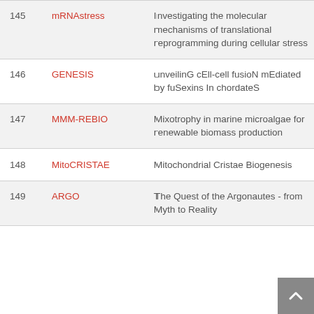| # | Name | Description |
| --- | --- | --- |
| 145 | mRNAstress | Investigating the molecular mechanisms of translational reprogramming during cellular stress |
| 146 | GENESIS | unveilinG cEll-cell fusioN mEdiated by fuSexins In chordateS |
| 147 | MMM-REBIO | Mixotrophy in marine microalgae for renewable biomass production |
| 148 | MitoCRISTAE | Mitochondrial Cristae Biogenesis |
| 149 | ARGO | The Quest of the Argonautes - from Myth to Reality |